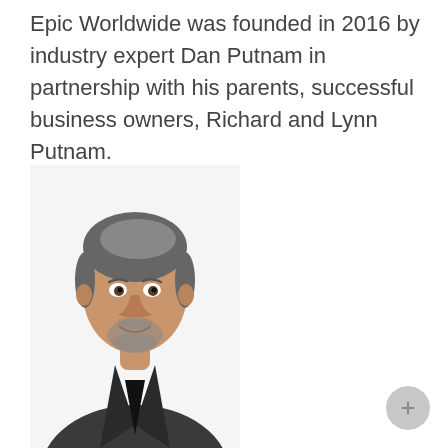Epic Worldwide was founded in 2016 by industry expert Dan Putnam in partnership with his parents, successful business owners, Richard and Lynn Putnam.
[Figure (photo): Professional headshot photo of Dan Putnam, a middle-aged man with salt-and-pepper hair and beard, wearing a dark blazer over a black shirt, white background.]